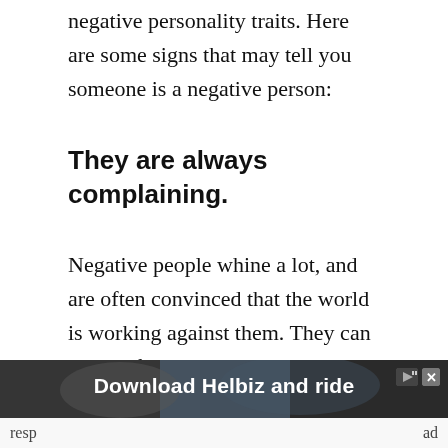negative personality traits. Here are some signs that may tell you someone is a negative person:
They are always complaining.
Negative people whine a lot, and are often convinced that the world is working against them. They can always find something to complain about, whether it be nasty weather,
[Figure (other): Advertisement banner: 'Download Helbiz and ride' with a dark background image of a person on an electric vehicle. Play and close icons in top right corner.]